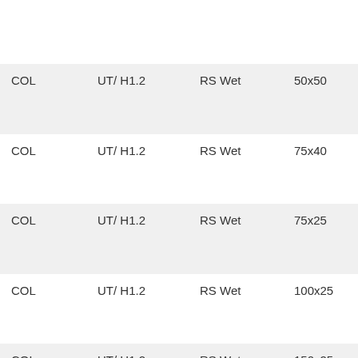| Type | Standard | Condition | Size | Values |
| --- | --- | --- | --- | --- |
|  |  |  |  | 6.0 |
| COL | UT/ H1.2 | RS Wet | 50x50 | 3.6, 4
4.8, 5
6.0 |
| COL | UT/ H1.2 | RS Wet | 75x40 | 3.6, 4
4.8, 5
6.0 |
| COL | UT/ H1.2 | RS Wet | 75x25 | 3.6, 4
4.8, 5
6.0 |
| COL | UT/ H1.2 | RS Wet | 100x25 | 3.6, 4
4.8, 5
6.0 |
| COL | UT/ H1.2 | RS Wet | 150x25 | 3.6, 4 |